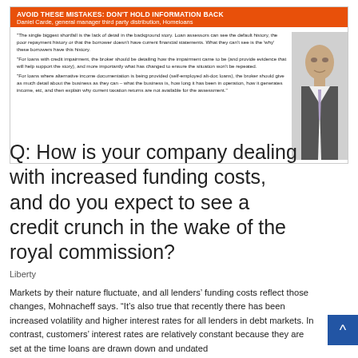[Figure (infographic): Info box with orange header reading 'AVOID THESE MISTAKES: DON'T HOLD INFORMATION BACK' and subtitle 'Daniel Carde, general manager third party distribution, Homeloans', with a quote text block on the left and a photo of a man in a suit on the right.]
Q: How is your company dealing with increased funding costs, and do you expect to see a credit crunch in the wake of the royal commission?
Liberty
Markets by their nature fluctuate, and all lenders' funding costs reflect those changes, Mohnacheff says. “It’s also true that recently there has been increased volatility and higher interest rates for all lenders in debt markets. In contrast, customers’ interest rates are relatively constant because they are set at the time loans are drawn down and undated